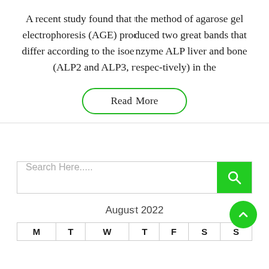A recent study found that the method of agarose gel electrophoresis (AGE) produced two great bands that differ according to the isoenzyme ALP liver and bone (ALP2 and ALP3, respec-tively) in the
Read More
Search Here.....
August 2022
| M | T | W | T | F | S | S |
| --- | --- | --- | --- | --- | --- | --- |